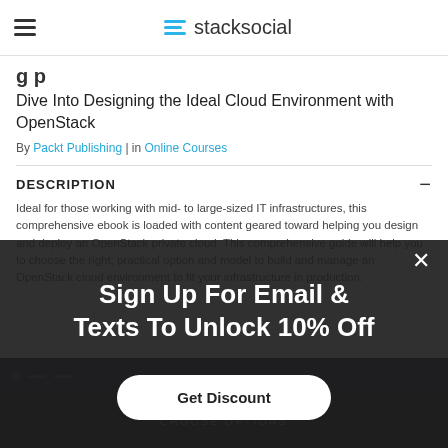stacksocial
Dive Into Designing the Ideal Cloud Environment with OpenStack
By Packt Publishing | in Online Courses
DESCRIPTION
Ideal for those working with mid- to large-sized IT infrastructures, this comprehensive ebook is loaded with content geared toward helping you design and deploy an OpenStack private cloud. This comprehensive guide will help you to choose the right, practical option and model to build and manage an OpenStack cloud environment to fit your infrastructure in production.
Sign Up For Email & Texts To Unlock 10% Off
Get Discount